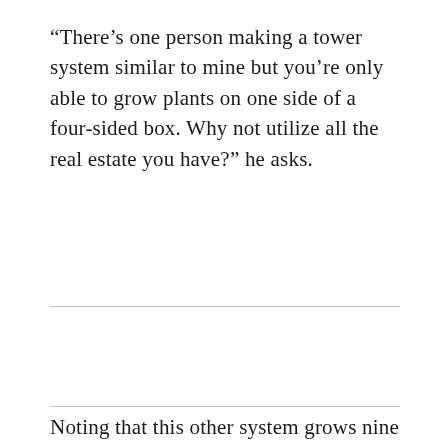“There’s one person making a tower system similar to mine but you’re only able to grow plants on one side of a four-sided box. Why not utilize all the real estate you have?” he asks.
Noting that this other system grows nine plants